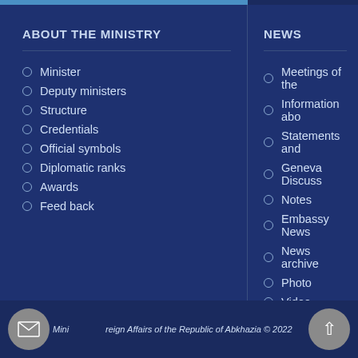ABOUT THE MINISTRY
Minister
Deputy ministers
Structure
Credentials
Official symbols
Diplomatic ranks
Awards
Feed back
NEWS
Meetings of the
Information abo
Statements and
Geneva Discuss
Notes
Embassy News
News archive
Photo
Video
Foreign media a
Ministry of Foreign Affairs of the Republic of Abkhazia © 2022